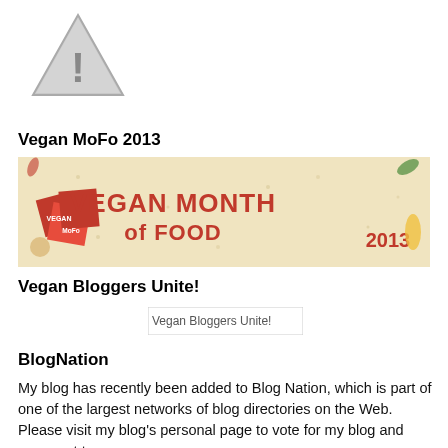[Figure (illustration): Warning triangle icon with exclamation mark]
Vegan MoFo 2013
[Figure (illustration): Vegan MoFo 2013 banner - Vegan Month of Food 2013 logo on beige background with food illustrations]
Vegan Bloggers Unite!
[Figure (illustration): Vegan Bloggers Unite! image placeholder]
BlogNation
My blog has recently been added to Blog Nation, which is part of one of the largest networks of blog directories on the Web. Please visit my blog's personal page to vote for my blog and comment to